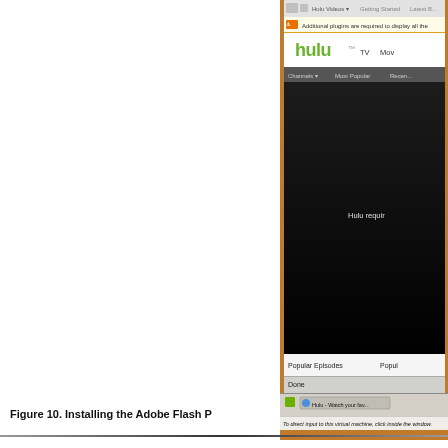[Figure (screenshot): Screenshot of Hulu website in a virtual machine browser window on a macOS/orange desktop background. Shows the Hulu logo and navigation bar, a plugin notification bar, a black video player area with text 'Hulu requir...', Popular Episodes section, Done status bar, and a taskbar at the bottom with 'Hulu - Watch your fav...' tab and a directive 'To direct input to this virtual machine, click inside the window.']
Figure 10. Installing the Adobe Flash P...